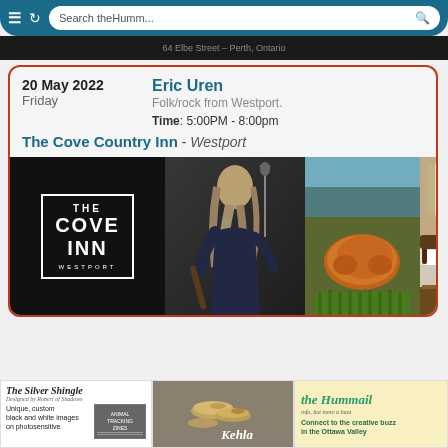Search theHumm...
64 Elbe Street – Perth, Ontario
20 May 2022
Friday
Eric Uren
Folk/rock from Westport.
Time: 5:00PM - 8:00pm
The Cove Country Inn - Westport
[Figure (photo): Composite image showing The Cove Inn Westport logo, a female guitarist performing, grilled chicken with asparagus, and a cozy hotel bedroom]
[Figure (photo): The Silver Shingle advertisement with script title, text 'Unique, custom black and white images on photosensitive', and an Animal Tracking Zine image]
[Figure (photo): Jewelry advertisement showing rings with label 'Kehla']
[Figure (photo): theHummail advertisement: 'Connect to the creative buzz in the Ottawa Valley']